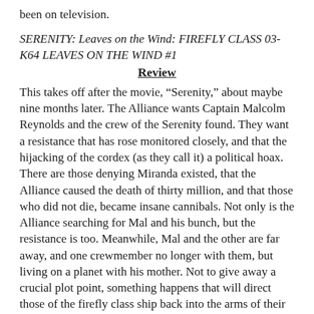been on television.
SERENITY: Leaves on the Wind: FIREFLY CLASS 03-K64 LEAVES ON THE WIND #1
Review
This takes off after the movie, “Serenity,” about maybe nine months later. The Alliance wants Captain Malcolm Reynolds and the crew of the Serenity found. They want a resistance that has rose monitored closely, and that the hijacking of the cordex (as they call it) a political hoax. There are those denying Miranda existed, that the Alliance caused the death of thirty million, and that those who did not die, became insane cannibals. Not only is the Alliance searching for Mal and his bunch, but the resistance is too. Meanwhile, Mal and the other are far away, and one crewmember no longer with them, but living on a planet with his mother. Not to give away a crucial plot point, something happens that will direct those of the firefly class ship back into the arms of their enemies.